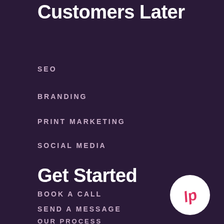Customers Later
SEO
BRANDING
PRINT MARKETING
SOCIAL MEDIA
Get Started
BOOK A CALL
SEND A MESSAGE
OUR PROCESS
[Figure (logo): Circular white logo with stylized 'lp' letters in red/pink on a white circle background]